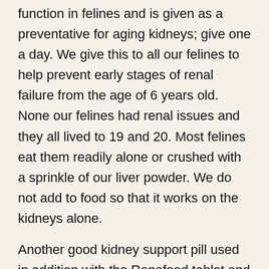function in felines and is given as a preventative for aging kidneys; give one a day. We give this to all our felines to help prevent early stages of renal failure from the age of 6 years old. None our felines had renal issues and they all lived to 19 and 20. Most felines eat them readily alone or crushed with a sprinkle of our liver powder. We do not add to food so that it works on the kidneys alone.
Another good kidney support pill used in addition with the Renafood tablet and our raw kidney diet is Renal Essentials by VetriScience.
Please keep in mind that all allopathic vets do not relate to raw kidney diets as well as homeopathic vets do. When fed a raw diet you really don't have to pay close attention to the